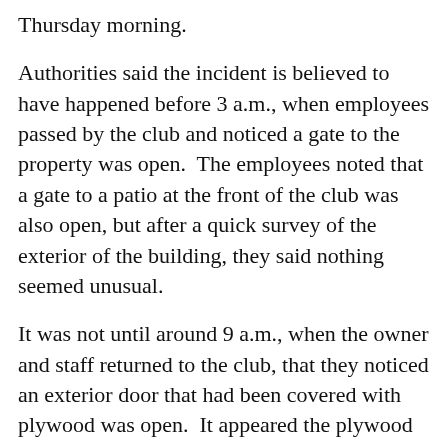Thursday morning.
Authorities said the incident is believed to have happened before 3 a.m., when employees passed by the club and noticed a gate to the property was open.  The employees noted that a gate to a patio at the front of the club was also open, but after a quick survey of the exterior of the building, they said nothing seemed unusual.
It was not until around 9 a.m., when the owner and staff returned to the club, that they noticed an exterior door that had been covered with plywood was open.  It appeared the plywood had been removed with a prying tool.
"Since June 12, we have seen the worst and best of human behavior," said Pulse owner Barbara Poma. "We